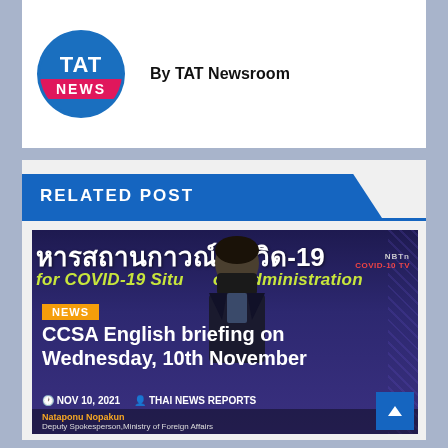[Figure (logo): TAT NEWS circular logo with blue background and pink/red NEWS bar]
By TAT Newsroom
RELATED POST
[Figure (photo): COVID-19 CCSA briefing video thumbnail showing a masked speaker in front of Thai and English COVID-19 Situation Administration backdrop. NEWS badge in orange. Title: CCSA English briefing on Wednesday, 10th November. Date: NOV 10, 2021. Author: THAI NEWS REPORTS. Name bar: Nataponu Nopakun, Deputy Spokesperson, Ministry of Foreign Affairs.]
CCSA English briefing on Wednesday, 10th November
NOV 10, 2021   THAI NEWS REPORTS